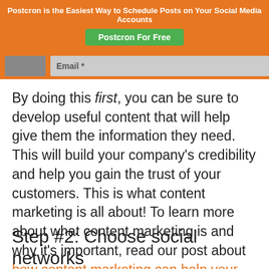Postcron is the Easiest Way to Schedule Posts on Your Social Media Accounts
Postcron For Free
[Figure (screenshot): Form bar with dark input field and Email label input on orange background]
By doing this first, you can be sure to develop useful content that will help give them the information they need. This will build your company’s credibility and help you gain the trust of your customers. This is what content marketing is all about! To learn more about what content marketing is and why it’s important, read our post about how content marketing can help your business.
Step #2: Choose social networks